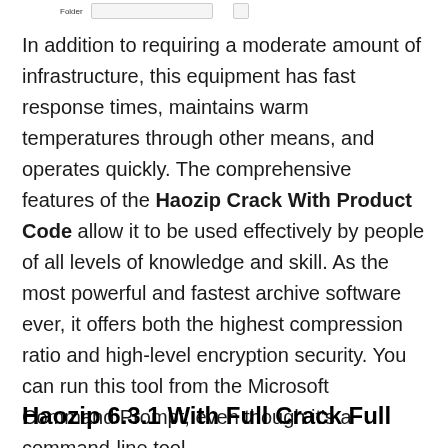[Figure (screenshot): Partial screenshot showing a folder UI element with a text bar and icon]
In addition to requiring a moderate amount of infrastructure, this equipment has fast response times, maintains warm temperatures through other means, and operates quickly. The comprehensive features of the Haozip Crack With Product Code allow it to be used effectively by people of all levels of knowledge and skill. As the most powerful and fastest archive software ever, it offers both the highest compression ratio and high-level encryption security. You can run this tool from the Microsoft Command Prompt, even though it's a command-line tool.
Haozip 6.3.1 With Full Crack Full